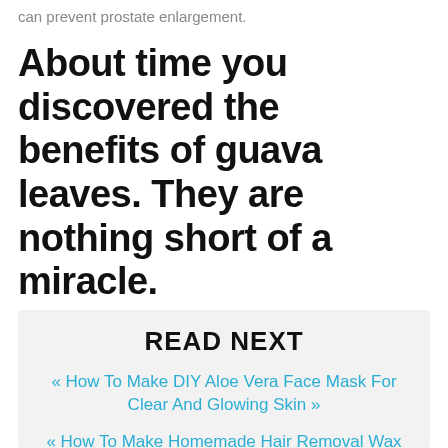can prevent prostate enlargement.
About time you discovered the benefits of guava leaves. They are nothing short of a miracle.
READ NEXT
« How To Make DIY Aloe Vera Face Mask For Clear And Glowing Skin »
« How To Make Homemade Hair Removal Wax With Milk And Baking Soda »